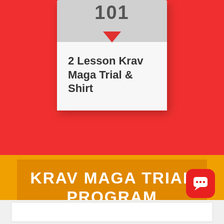[Figure (illustration): A book/card graphic on a red background showing '101' at the top with a red downward triangle, and bold text reading '2 Lesson Krav Maga Trial & Shirt']
2 Lesson Krav Maga Trial & Shirt
KRAV MAGA TRIAL PROGRAM
[Figure (illustration): Red rounded square chat/messaging icon in bottom right corner]